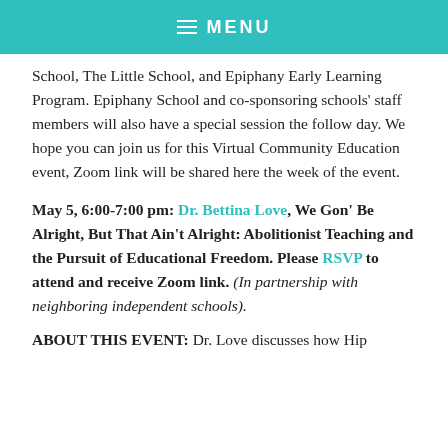≡ MENU
School, The Little School, and Epiphany Early Learning Program. Epiphany School and co-sponsoring schools' staff members will also have a special session the follow day. We hope you can join us for this Virtual Community Education event, Zoom link will be shared here the week of the event.
May 5, 6:00-7:00 pm: Dr. Bettina Love, We Gon' Be Alright, But That Ain't Alright: Abolitionist Teaching and the Pursuit of Educational Freedom. Please RSVP to attend and receive Zoom link. (In partnership with neighboring independent schools).
ABOUT THIS EVENT: Dr. Love discusses how Hip